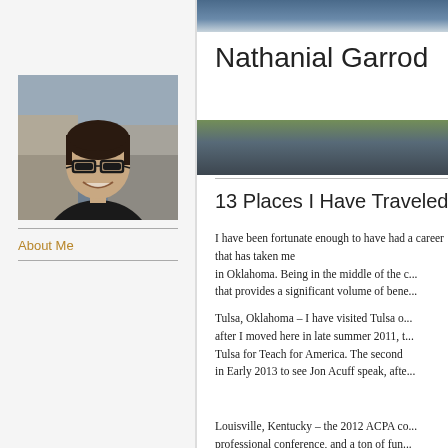[Figure (photo): Headshot photo of Nathanial Garrod, a man with dark hair wearing glasses and a dark shirt, smiling]
About Me
Nathanial Garrod
13 Places I Have Traveled
I have been fortunate enough to have had a career that has taken me to a number of destinations across the country. I grew up in Oklahoma. Being in the middle of the country means living in a location that provides a significant volume of benefits...
Tulsa, Oklahoma – I have visited Tulsa on several occasions. First after I moved here in late summer 2011, to work in Tulsa for Teach for America. The second time I was in Early 2013 to see Jon Acuff speak, afte...
Louisville, Kentucky – the 2012 ACPA co... professional conference, and a ton of fun...